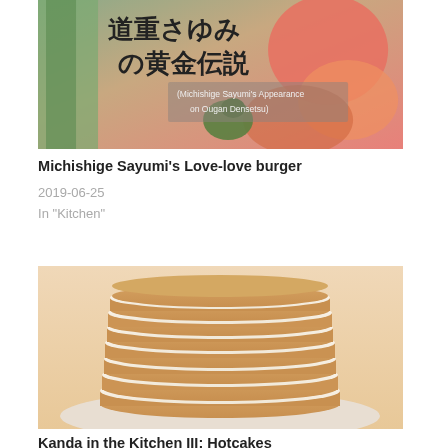[Figure (photo): Screenshot of Japanese TV show cover with kanji text reading Michishige Sayumi Appearance on Ougan Densetsu, with vegetables and food imagery]
Michishige Sayumi's Love-love burger
2019-06-25
In "Kitchen"
[Figure (photo): Stack of hotcakes/pancakes piled high on a white plate, golden brown color]
Kanda in the Kitchen III: Hotcakes